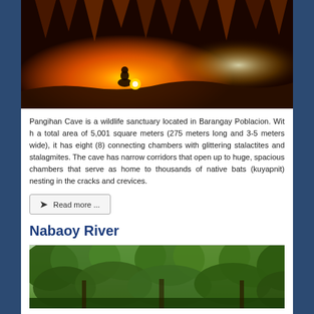[Figure (photo): A person crouching inside a cave with orange and red glowing stalactites and rock formations, holding a light source]
Pangihan Cave is a wildlife sanctuary located in Barangay Poblacion. With a total area of 5,001 square meters (275 meters long and 3-5 meters wide), it has eight (8) connecting chambers with glittering stalactites and stalagmites. The cave has narrow corridors that open up to huge, spacious chambers that serve as home to thousands of native bats (kuyapnit) nesting in the cracks and crevices.
Read more ...
Nabaoy River
[Figure (photo): A river scene surrounded by lush green tropical vegetation and trees]